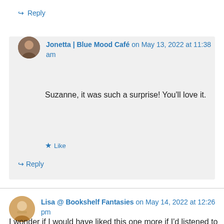↪ Reply
Jonetta | Blue Mood Café on May 13, 2022 at 11:38 am
Suzanne, it was such a surprise! You'll love it.
★ Like
↪ Reply
Lisa @ Bookshelf Fantasies on May 14, 2022 at 12:26 pm
I wonder if I would have liked this one more if I'd listened to the audiobook? It sounds like it was a